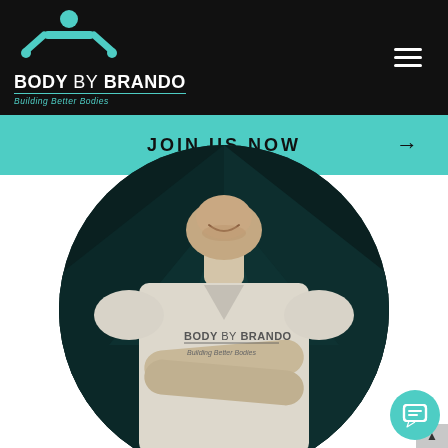[Figure (logo): Body By Brando logo with a person in push-up position icon, text 'BODY BY BRANDO Building Better Bodies' on dark background header]
JOIN US NOW →
[Figure (photo): A man with arms crossed wearing a 'Body By Brando - Building Better Bodies' t-shirt, shown in a circular crop against a dark teal background]
[Figure (other): Teal chat/message icon button in bottom right corner]